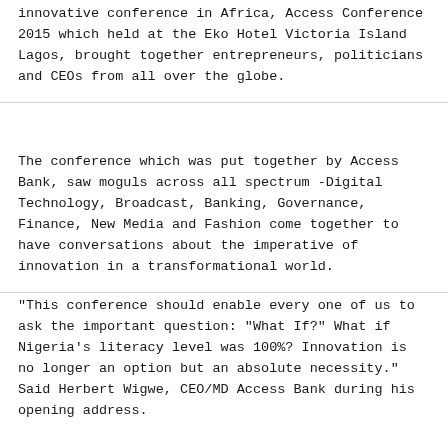innovative conference in Africa, Access Conference 2015 which held at the Eko Hotel Victoria Island Lagos, brought together entrepreneurs, politicians and CEOs from all over the globe.
The conference which was put together by Access Bank, saw moguls across all spectrum -Digital Technology, Broadcast, Banking, Governance, Finance, New Media and Fashion come together to have conversations about the imperative of innovation in a transformational world.
"This conference should enable every one of us to ask the important question: "What If?" What if Nigeria's literacy level was 100%? Innovation is no longer an option but an absolute necessity." Said Herbert Wigwe, CEO/MD Access Bank during his opening address.